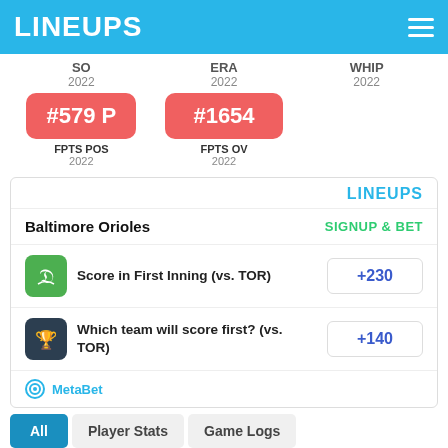LINEUPS
SO
2022
ERA
2022
WHIP
2022
[Figure (infographic): Red badge showing #579 P rank for FPTS POS 2022]
FPTS POS
2022
[Figure (infographic): Red badge showing #1654 rank for FPTS OV 2022]
FPTS OV
2022
LINEUPS
Baltimore Orioles
SIGNUP & BET
Score in First Inning (vs. TOR)
+230
Which team will score first? (vs. TOR)
+140
MetaBet
All
Player Stats
Game Logs